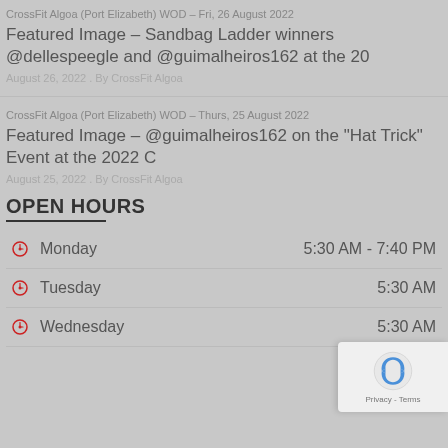CrossFit Algoa (Port Elizabeth) WOD – Fri, 26 August 2022
Featured Image – Sandbag Ladder winners @dellespeegle and @guimalheiros162 at the 20
August 26, 2022 . By CrossFit Algoa
CrossFit Algoa (Port Elizabeth) WOD – Thurs, 25 August 2022
Featured Image – @guimalheiros162 on the "Hat Trick" Event at the 2022 C
August 25, 2022 . By CrossFit Algoa
OPEN HOURS
Monday  5:30 AM - 7:40 PM
Tuesday  5:30 AM - 7:00 PM
Wednesday  5:30 AM